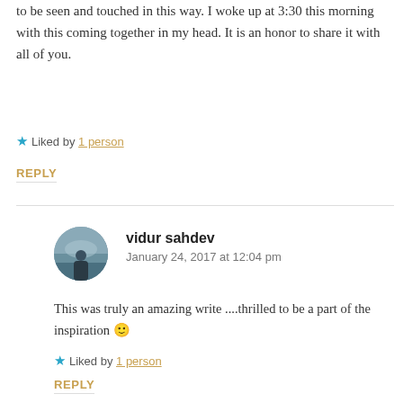to be seen and touched in this way. I woke up at 3:30 this morning with this coming together in my head. It is an honor to share it with all of you.
★ Liked by 1 person
REPLY
vidur sahdev
January 24, 2017 at 12:04 pm
This was truly an amazing write ....thrilled to be a part of the inspiration 🙂
★ Liked by 1 person
REPLY